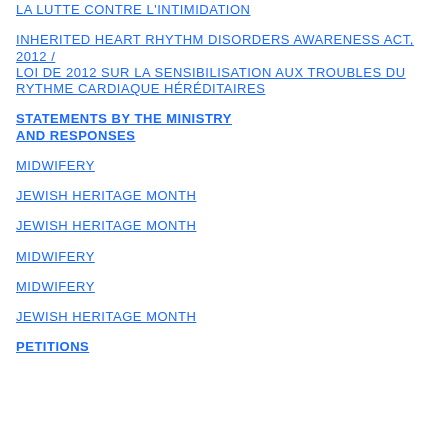LA LUTTE CONTRE L'INTIMIDATION
INHERITED HEART RHYTHM DISORDERS AWARENESS ACT, 2012 / LOI DE 2012 SUR LA SENSIBILISATION AUX TROUBLES DU RYTHME CARDIAQUE HÉRÉDITAIRES
STATEMENTS BY THE MINISTRY AND RESPONSES
MIDWIFERY
JEWISH HERITAGE MONTH
JEWISH HERITAGE MONTH
MIDWIFERY
MIDWIFERY
JEWISH HERITAGE MONTH
PETITIONS